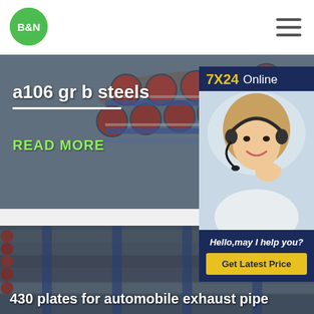[Figure (logo): B&N green circular logo in page header]
[Figure (illustration): Hamburger menu icon (three horizontal lines)]
[Figure (photo): Photo of bundled steel pipes/tubes with blue and red stripes, overlaid with text 'a106 gr b steels' and 'READ MORE']
a106 gr b steels
READ MORE
[Figure (photo): 7X24 Online chat widget with photo of female customer service representative wearing headset, message 'Hello,may I help you?' and button 'Get Latest Price']
7X24 Online
Hello,may I help you?
Get Latest Price
[Figure (photo): Photo of stacked steel tubes/pipes, blue-grey color]
430 plates for automobile exhaust pipe